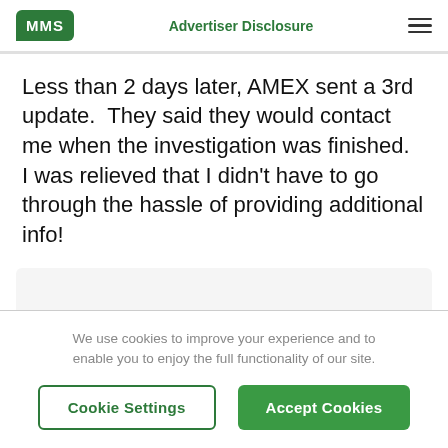MMS | Advertiser Disclosure
Less than 2 days later, AMEX sent a 3rd update.  They said they would contact me when the investigation was finished.  I was relieved that I didn't have to go through the hassle of providing additional info!
[Figure (other): Gray content placeholder box]
We use cookies to improve your experience and to enable you to enjoy the full functionality of our site.
Cookie Settings | Accept Cookies